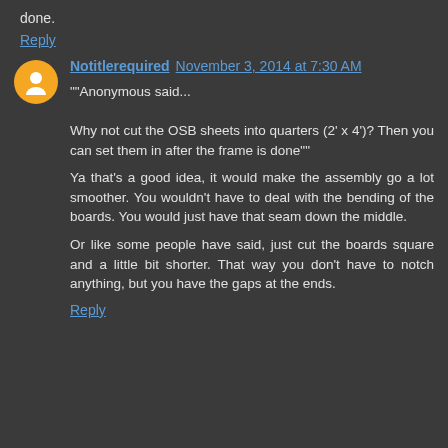done.
Reply
Notitlerequired  November 3, 2014 at 7:30 AM
""Anonymous said...

Why not cut the OSB sheets into quarters (2' x 4')? Then you can set them in after the frame is done""
Ya that's a good idea, it would make the assembly go a lot smoother. You wouldn't have to deal with the bending of the boards. You would just have that seam down the middle.
Or like some people have said, just cut the boards square and a little bit shorter. That way you don't have to notch anything, but you have the gaps at the ends.
Reply